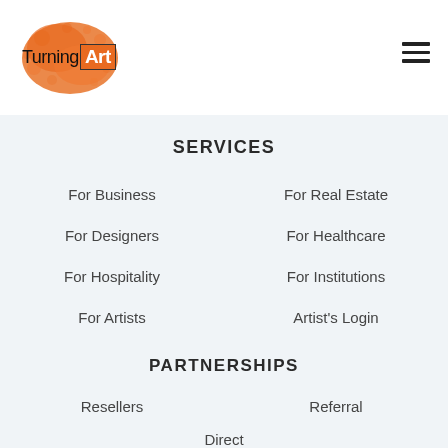[Figure (logo): TurningArt logo with orange paint splash background and 'Turning Art' text with 'Art' in orange box]
SERVICES
For Business
For Real Estate
For Designers
For Healthcare
For Hospitality
For Institutions
For Artists
Artist's Login
PARTNERSHIPS
Resellers
Referral
Direct